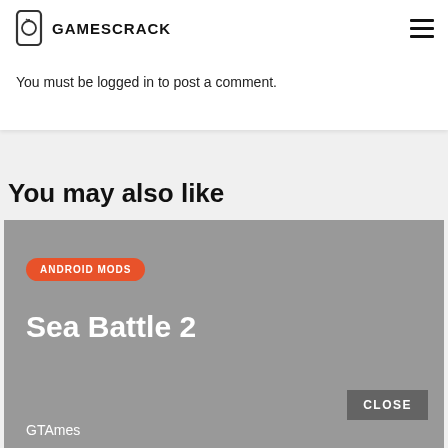GAMESCRACK
You must be logged in to post a comment.
You may also like
[Figure (screenshot): Card with orange 'ANDROID MODS' badge, title 'Sea Battle 2', CLOSE button, and 'GTAmes' author text on grey background]
GTAmes